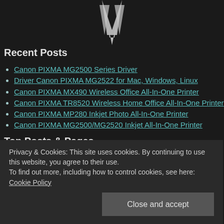[Figure (illustration): Partial view of a white bird or animal logo on dark background, cropped at top]
Recent Posts
Canon PIXMA MG2500 Series Driver
Driver Canon PIXMA MG2522 for Mac, Windows, Linux
Canon PIXMA MX490 Wireless Office All-In-One Printer
Canon PIXMA TR8520 Wireless Home Office All-In-One Printer
Canon PIXMA MP280 Inkjet Photo All-In-One Printer
Canon PIXMA MG2500/MG2520 Inkjet All-In-One Printer
Top Posts & Pages
Driver Canon PIXMA MG3540 for Windows, Mac, Linux
Privacy & Cookies: This site uses cookies. By continuing to use this website, you agree to their use. To find out more, including how to control cookies, see here: Cookie Policy
Close and accept